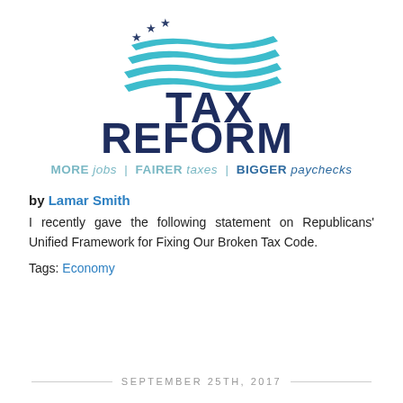[Figure (logo): Tax Reform logo with stylized flag graphic (teal waves and navy stars) above bold navy text reading TAX REFORM, with tagline: MORE jobs | FAIRER taxes | BIGGER paychecks]
by Lamar Smith
I recently gave the following statement on Republicans' Unified Framework for Fixing Our Broken Tax Code.
Tags: Economy
SEPTEMBER 25TH, 2017